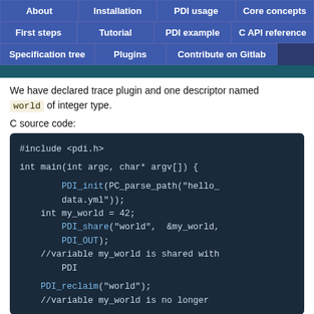About | Installation | PDI usage | Core concepts | First steps | Tutorial | PDI example | C API reference | Specification tree | Plugins | Contribute on Gitlab
We have declared trace plugin and one descriptor named world of integer type.
C source code:
[Figure (screenshot): C source code block showing #include <pdi.h>, int main(int argc, char* argv[]) {, PDI_init(PC_parse_path("hello_data.yml")); int my_world = 42; PDI_share("world", &my_world, PDI_OUT); //variable my_world is shared with PDI, PDI_reclaim("world"); //variable my_world is no longer]